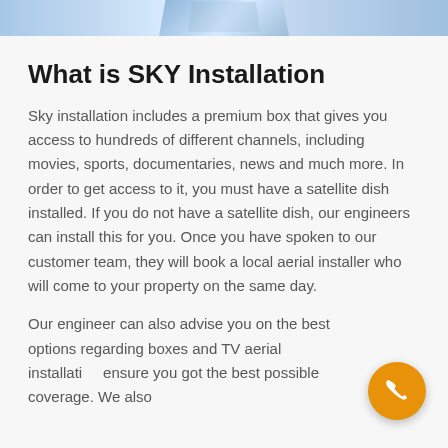[Figure (photo): Decorative header image with blue gradient sky/satellite imagery]
What is SKY Installation
Sky installation includes a premium box that gives you access to hundreds of different channels, including movies, sports, documentaries, news and much more. In order to get access to it, you must have a satellite dish installed. If you do not have a satellite dish, our engineers can install this for you. Once you have spoken to our customer team, they will book a local aerial installer who will come to your property on the same day.
Our engineer can also advise you on the best options regarding boxes and TV aerial installation ensure you got the best possible coverage. We also
[Figure (illustration): Orange circular phone/call button in bottom right corner]